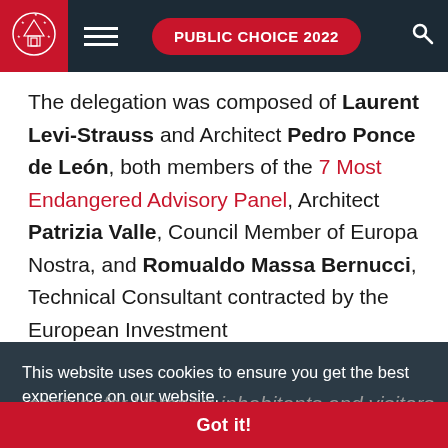PUBLIC CHOICE 2022
The delegation was composed of Laurent Levi-Strauss and Architect Pedro Ponce de León, both members of the 7 Most Endangered Advisory Panel, Architect Patrizia Valle, Council Member of Europa Nostra, and Romualdo Massa Bernucci, Technical Consultant contracted by the European Investment Bank Institute.
The Garden and the Palace are rare treasures created by the Giusti del Giardino family in the 16th century for Verona's inhabitants and visitors from abroad. Though this precious gem flourished for
This website uses cookies to ensure you get the best experience on our website. Learn more
Got it!